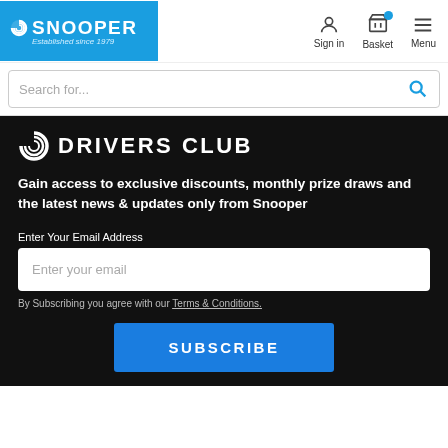SNOOPER — Established since 1979 | Sign in | Basket | Menu
Search for...
DRIVERS CLUB
Gain access to exclusive discounts, monthly prize draws and the latest news & updates only from Snooper
Enter Your Email Address
Enter your email
By Subscribing you agree with our Terms & Conditions.
SUBSCRIBE